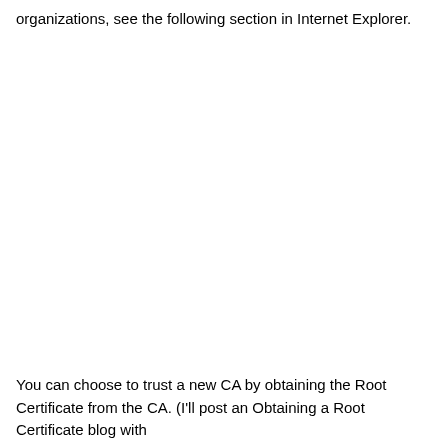organizations, see the following section in Internet Explorer.
You can choose to trust a new CA by obtaining the Root Certificate from the CA. (I'll post an Obtaining a Root Certificate blog with